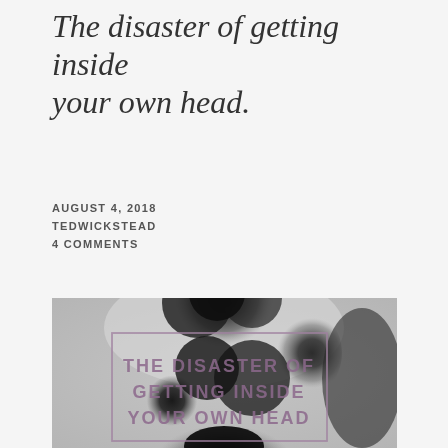The disaster of getting inside your own head.
AUGUST 4, 2018
TEDWICKSTEAD
4 COMMENTS
[Figure (photo): Black and white photo of a large smoke explosion cloud, with a rectangular border overlay and text reading 'THE DISASTER OF GETTING INSIDE YOUR OWN HEAD' in bold purple-tinted letters]